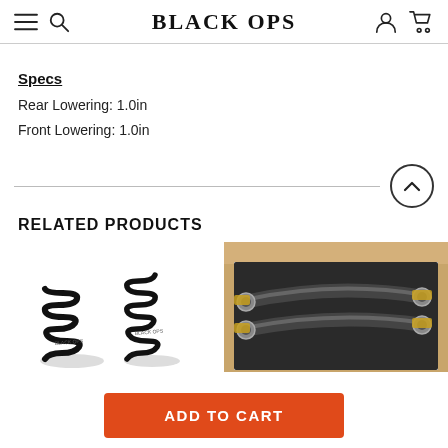BLACK OPS
Specs
Rear Lowering: 1.0in
Front Lowering: 1.0in
RELATED PRODUCTS
[Figure (photo): Two black coil springs side by side on white background]
[Figure (photo): Black suspension control arms in a cardboard box]
ADD TO CART